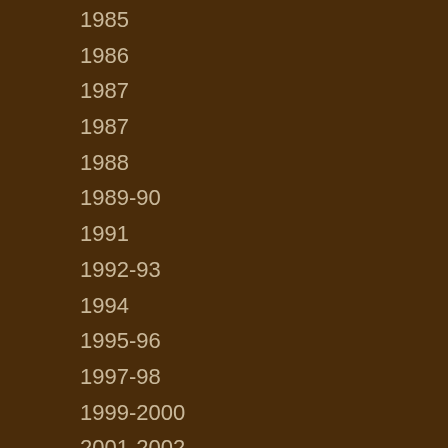1985
1986
1987
1987
1988
1989-90
1991
1992-93
1994
1995-96
1997-98
1999-2000
2001-2002
2003-2004
2005-2006
2007-2008
2009-2010